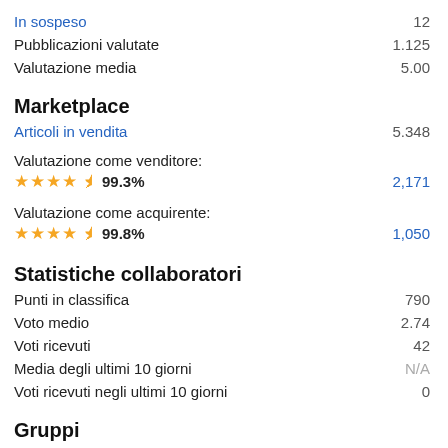In sospeso	12
Pubblicazioni valutate	1.125
Valutazione media	5.00
Marketplace
Articoli in vendita	5.348
Valutazione come venditore: ★★★★½ 99.3%	2,171
Valutazione come acquirente: ★★★★½ 99.8%	1,050
Statistiche collaboratori
Punti in classifica	790
Voto medio	2.74
Voti ricevuti	42
Media degli ultimi 10 giorni	N/A
Voti ricevuti negli ultimi 10 giorni	0
Gruppi